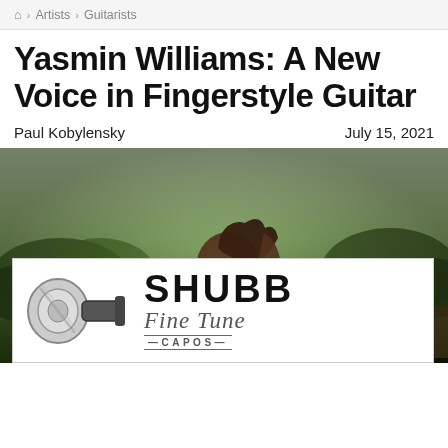Home › Artists › Guitarists
Yasmin Williams: A New Voice in Fingerstyle Guitar
Paul Kobylensky   July 15, 2021
[Figure (photo): Yasmin Williams seated outdoors in a field of green and yellow wildflowers, viewed from the side, with braided hair and glasses, wearing a floral top]
[Figure (logo): Shubb Fine Tune Capos advertisement banner with capo image on left and brand name on right]